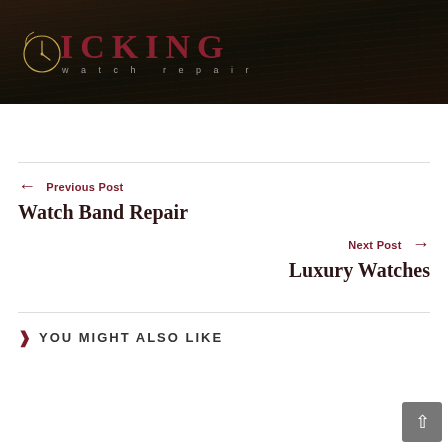[Figure (logo): Ticking Watch Repair logo on dark wooden background. Shows a clock face on the left and the text 'ICKING' in dark red serif letters with 'watch repair' in smaller grey letters below.]
← Previous Post
Watch Band Repair
Next Post →
Luxury Watches
YOU MIGHT ALSO LIKE